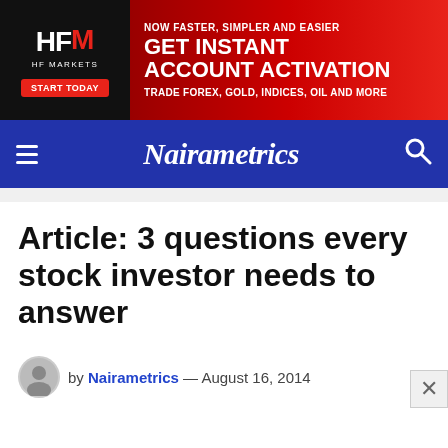[Figure (screenshot): HF Markets advertisement banner: black left panel with HFM logo and START TODAY button, red right panel with text NOW FASTER, SIMPLER AND EASIER / GET INSTANT ACCOUNT ACTIVATION / TRADE FOREX, GOLD, INDICES, OIL AND MORE]
Nairametrics
Article: 3 questions every stock investor needs to answer
by Nairametrics — August 16, 2014